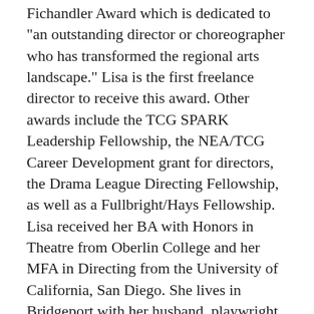Fichandler Award which is dedicated to "an outstanding director or choreographer who has transformed the regional arts landscape." Lisa is the first freelance director to receive this award. Other awards include the TCG SPARK Leadership Fellowship, the NEA/TCG Career Development grant for directors, the Drama League Directing Fellowship, as well as a Fullbright/Hays Fellowship. Lisa received her BA with Honors in Theatre from Oberlin College and her MFA in Directing from the University of California, San Diego. She lives in Bridgeport with her husband, playwright Carlos Murillo, and their two children, Eva Rose and Carlos Alejandro.
Lisa recently organized the 2018 Carnaval of New...